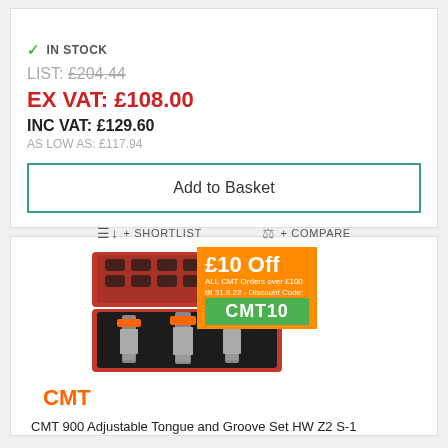✓ IN STOCK
LIST: £204.44
EX VAT: £108.00
INC VAT: £129.60
AS LOW AS: £117.94
Add to Basket
+ SHORTLIST
+ COMPARE
[Figure (photo): CMT router bit set in a red carrying case with foam insert, three bits visible]
CMT
CMT 900 Adjustable Tongue and Groove Set HW Z2 S-1